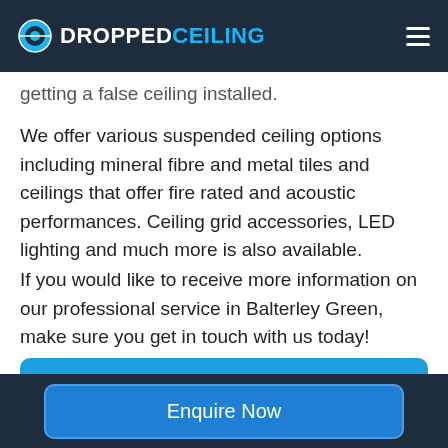DROPPED CEILING
getting a false ceiling installed.
We offer various suspended ceiling options including mineral fibre and metal tiles and ceilings that offer fire rated and acoustic performances. Ceiling grid accessories, LED lighting and much more is also available.
If you would like to receive more information on our professional service in Balterley Green, make sure you get in touch with us today!
GET A FREE, NO OBLIGATION QUOTE
What the Diff
Enquire Now